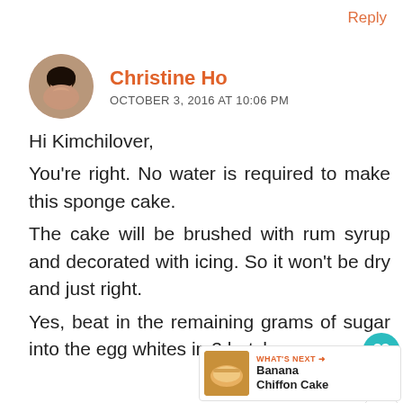Reply
Christine Ho
OCTOBER 3, 2016 AT 10:06 PM
[Figure (photo): Circular avatar photo of Christine Ho, a woman with dark hair]
Hi Kimchilover,

You're right. No water is required to make this sponge cake.

The cake will be brushed with rum syrup and decorated with icing. So it won't be dry and just right.

Yes, beat in the remaining grams of sugar into the egg whites in 3 batches.
[Figure (infographic): Like button (heart icon in teal circle) with count 13, and share button below]
[Figure (infographic): WHAT'S NEXT banner with Banana Chiffon Cake thumbnail and text]